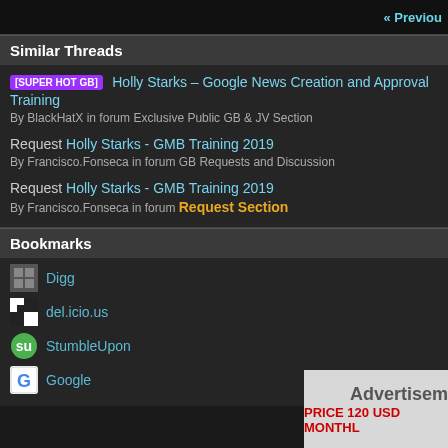« Previous
Similar Threads
[SUPER HOT GB] Holly Starks – Google News Creation and Approval Training
By BlackHatX in forum Exclusive Public GB & JV Section
Request Holly Starks - GMB Training 2019
By Francisco.Fonseca in forum GB Requests and Discussion
Request Holly Starks - GMB Training 2019
By Francisco.Fonseca in forum Request Section
Bookmarks
Digg
del.icio.us
StumbleUpon
Google
[Figure (other): Advertisement box with text 'Advertisement' and 'PRICE 120 USD MONTHL...']